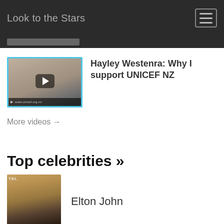Look to the Stars
[Figure (screenshot): Video thumbnail showing a woman's face with a play button overlay, from a UNICEF NZ video]
Hayley Westenra: Why I support UNICEF NZ
More videos →
Top celebrities »
[Figure (photo): Photo of Elton John wearing sunglasses and a dark jacket]
Elton John